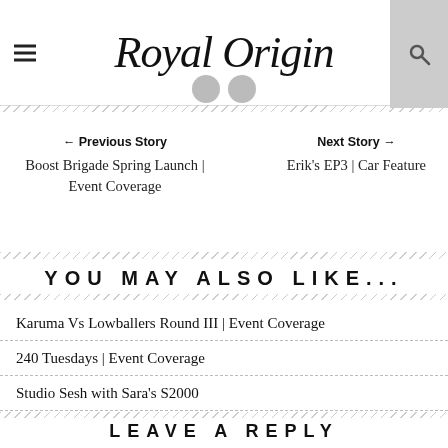Royal Origin
← Previous Story
Boost Brigade Spring Launch | Event Coverage
Next Story →
Erik's EP3 | Car Feature
YOU MAY ALSO LIKE...
Karuma Vs Lowballers Round III | Event Coverage
240 Tuesdays | Event Coverage
Studio Sesh with Sara's S2000
LEAVE A REPLY